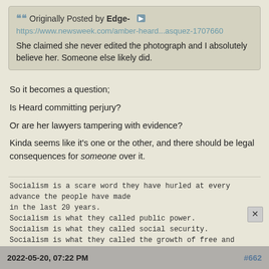Originally Posted by Edge-
https://www.newsweek.com/amber-heard...asquez-1707660
She claimed she never edited the photograph and I absolutely believe her. Someone else likely did.
So it becomes a question;
Is Heard committing perjury?
Or are her lawyers tampering with evidence?
Kinda seems like it's one or the other, and there should be legal consequences for someone over it.
Socialism is a scare word they have hurled at every advance the people have made in the last 20 years.
Socialism is what they called public power.
Socialism is what they called social security.
Socialism is what they called the growth of free and independent labor organizations.
Socialism is their name for almost anything that helps all the people.
 - Harry Truman, 1952
Reply With Quote
2022-05-20, 07:22 PM   #662